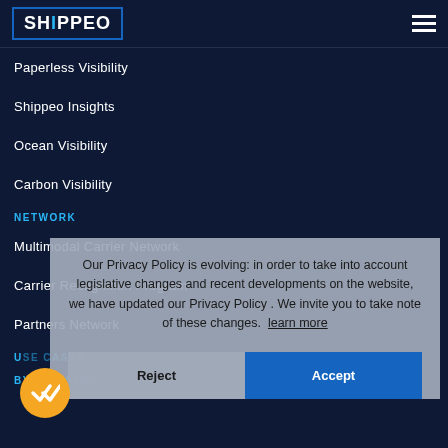[Figure (logo): Shippeo logo in a blue-bordered box, white text with cyan accent on dark navy background]
Paperless Visibility
Shippeo Insights
Ocean Visibility
Carbon Visibility
NETWORK
Multimodal Carrier Network
Carrier Recognition Program
Partners Network
USE CASES
BY INDUSTRY
Our Privacy Policy is evolving: in order to take into account legislative changes and recent developments on the website, we have updated our Privacy Policy . We invite you to take note of these changes. learn more
Reject  Accept